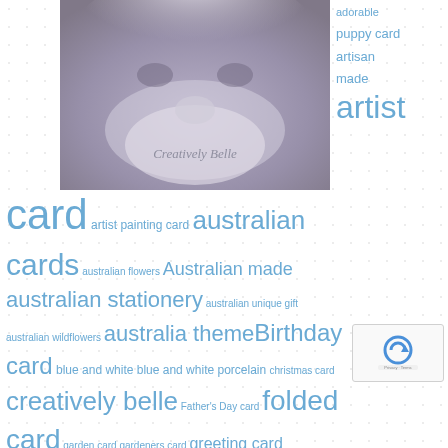[Figure (photo): Watercolour or painted image of a dog (puppy), muted purple/grey tones, with text 'Creatively Belle' overlaid, positioned top left]
adorable puppy card artisan made artist
[Figure (infographic): Tag cloud / word cloud with various terms related to handmade Australian cards and stationery, in varying blue font sizes]
card artist painting card australian cards australian flowers Australian made australian stationery australian unique gift australian wildflowers australia theme Birthday card blue and white blue and white porcelain christmas card creatively belle Father's Day card folded card garden card gardeners card greeting card handmade hand painted card happy birthday card made in australia card made in Sydney magnet and card gift merry christmas greeting card Mother's Day card porcelain printed in australia seasons greeting card special occasion card stationery thank you card the rocks markets the rocks markets